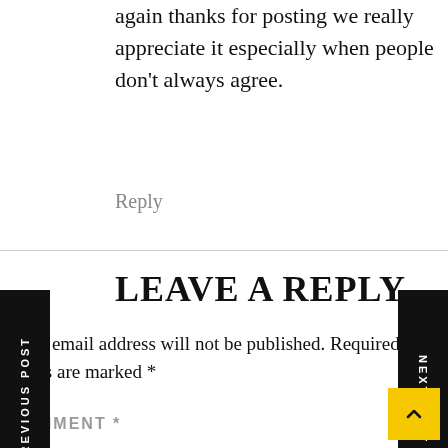again thanks for posting we really appreciate it especially when people don't always agree.
Reply
LEAVE A REPLY
Your email address will not be published. Required fields are marked *
COMMENT *
PREVIOUS POST
NEXT POST